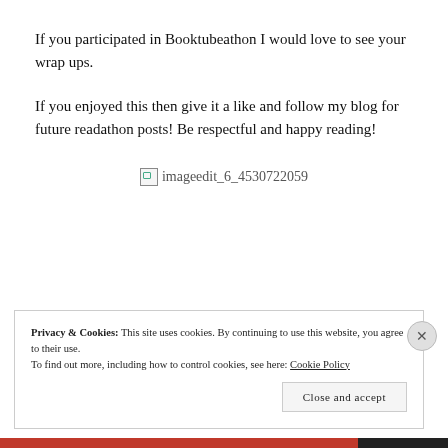If you participated in Booktubeathon I would love to see your wrap ups.
If you enjoyed this then give it a like and follow my blog for future readathon posts! Be respectful and happy reading!
[Figure (other): Broken image placeholder with alt text 'imageedit_6_4530722059']
Privacy & Cookies: This site uses cookies. By continuing to use this website, you agree to their use.
To find out more, including how to control cookies, see here: Cookie Policy
Close and accept